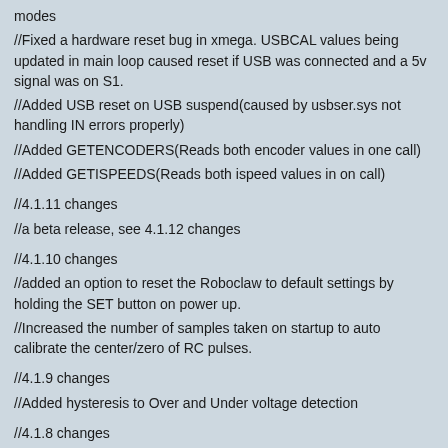modes
//Fixed a hardware reset bug in xmega. USBCAL values being updated in main loop caused reset if USB was connected and a 5v signal was on S1.
//Added USB reset on USB suspend(caused by usbser.sys not handling IN errors properly)
//Added GETENCODERS(Reads both encoder values in one call)
//Added GETISPEEDS(Reads both ispeed values in on call)
//4.1.11 changes
//a beta release, see 4.1.12 changes
//4.1.10 changes
//added an option to reset the Roboclaw to default settings by holding the SET button on power up.
//Increased the number of samples taken on startup to auto calibrate the center/zero of RC pulses.
//4.1.9 changes
//Added hysteresis to Over and Under voltage detection
//4.1.8 changes
//Added 4 more TTL serial baudrates, 57600, 115200, 230400 and 460800
//Added S3,S4 and S5 signal pin options.
//Added voltage clamp output control options to signal pints. Used to drive an active external voltage clamp circuit to dissipate regen energy when